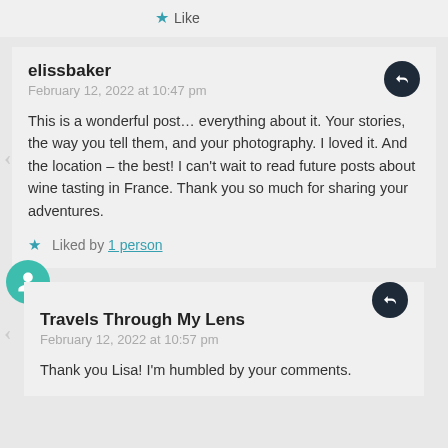Like
elissbaker
February 12, 2022 at 10:47 pm
This is a wonderful post… everything about it. Your stories, the way you tell them, and your photography. I loved it. And the location – the best! I can't wait to read future posts about wine tasting in France. Thank you so much for sharing your adventures.
Liked by 1 person
Travels Through My Lens
February 12, 2022 at 10:57 pm
Thank you Lisa! I'm humbled by your comments.